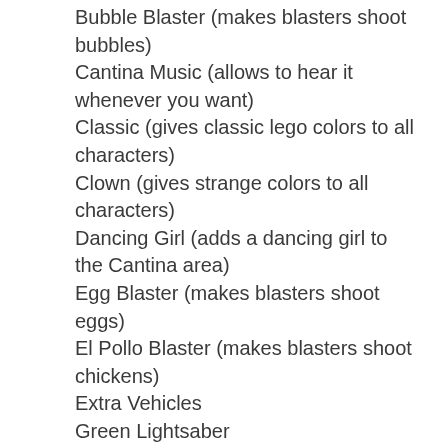Bubble Blaster (makes blasters shoot bubbles)
Cantina Music (allows to hear it whenever you want)
Classic (gives classic lego colors to all characters)
Clown (gives strange colors to all characters)
Dancing Girl (adds a dancing girl to the Cantina area)
Egg Blaster (makes blasters shoot eggs)
El Pollo Blaster (makes blasters shoot chickens)
Extra Vehicles
Green Lightsaber
Invincibility
Jabba"s Baroque (allows to hear it whenever you want)
Jedi Spirit (displays your character as a spirit)
Monochrone Mode (the game becomes mostly black and white)
Red Lightsaber
Silhouette (displays only the outline of your character)
Washed Out Mode (the colors fade a bit)
Contributed by: Mykas0
Walkthroughs & FAQs